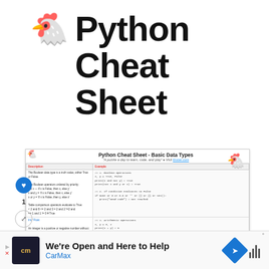🐔 Python Cheat Sheet
[Figure (screenshot): Screenshot of a Python Cheat Sheet document showing Basic Data Types with a table of descriptions and code examples including Boolean operations and Integer/Float arithmetic operations.]
[Figure (infographic): Advertisement bar for CarMax: 'We're Open and Here to Help' with CarMax logo, navigation icon, and sound icon.]